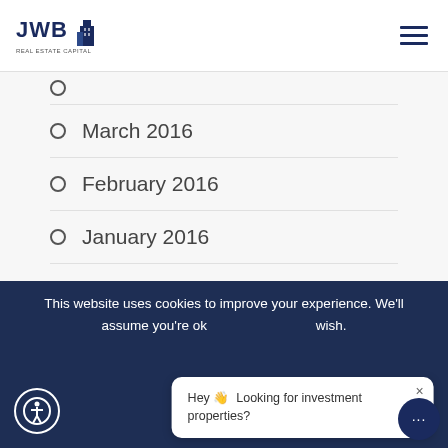JWB Real Estate Capital
March 2016
February 2016
January 2016
December 2015
November 2015
October 2015
September 2015
August 2015
This website uses cookies to improve your experience. We'll assume you're ok with this, but you can opt-out if you wish.
Hey 👋 Looking for investment properties?